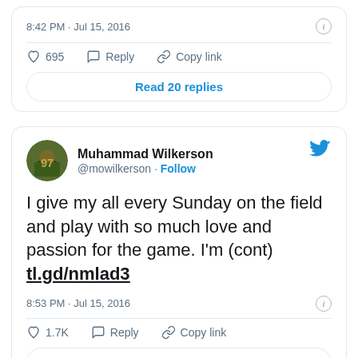8:42 PM · Jul 15, 2016
695  Reply  Copy link
Read 20 replies
[Figure (screenshot): Twitter profile avatar of Muhammad Wilkerson, a football player in green and gold uniform]
Muhammad Wilkerson
@mowilkerson · Follow
I give my all every Sunday on the field and play with so much love and passion for the game. I'm (cont) tl.gd/nmlad3
8:53 PM · Jul 15, 2016
1.7K  Reply  Copy link
Read 190 replies